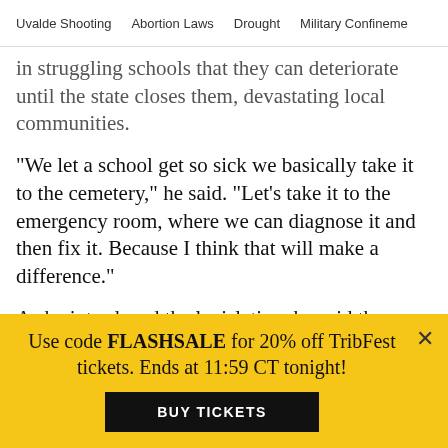Uvalde Shooting   Abortion Laws   Drought   Military Confinement
in struggling schools that they can deteriorate until the state closes them, devastating local communities.
"We let a school get so sick we basically take it to the cemetery," he said. "Let's take it to the emergency room, where we can diagnose it and then fix it. Because I think that will make a difference."
As he introduced the legislation, he said the students trapped at the 15 campuses that would be affected by it were from predominately poor and minority backgrounds. Listing the House members whose districts included those campuses, he noted that they
Use code FLASHSALE for 20% off TribFest tickets. Ends at 11:59 CT tonight!
BUY TICKETS